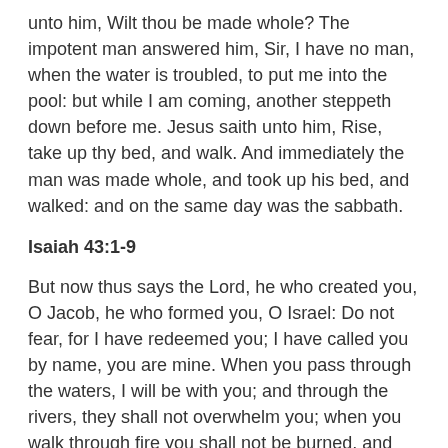unto him, Wilt thou be made whole? The impotent man answered him, Sir, I have no man, when the water is troubled, to put me into the pool: but while I am coming, another steppeth down before me. Jesus saith unto him, Rise, take up thy bed, and walk. And immediately the man was made whole, and took up his bed, and walked: and on the same day was the sabbath.
Isaiah 43:1-9
But now thus says the Lord, he who created you, O Jacob, he who formed you, O Israel: Do not fear, for I have redeemed you; I have called you by name, you are mine. When you pass through the waters, I will be with you; and through the rivers, they shall not overwhelm you; when you walk through fire you shall not be burned, and the flame shall not consume you. For I am the Lord your God, the Holy One of Israel, your Savior. I give